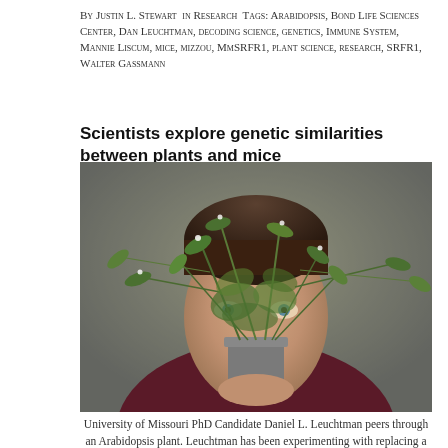By Justin L. Stewart in Research Tags: Arabidopsis, Bond Life Sciences Center, Dan Leuchtman, decoding science, genetics, Immune System, Mannie Liscum, mice, mizzou, MmSRFR1, plant science, research, SRFR1, Walter Gassmann
Scientists explore genetic similarities between plants and mice
[Figure (photo): University of Missouri PhD Candidate Daniel L. Leuchtman peers through an Arabidopsis plant held up to his face, obscuring most of his features. He is wearing a dark maroon/purple top. The background is gray.]
University of Missouri PhD Candidate Daniel L. Leuchtman peers through an Arabidopsis plant. Leuchtman has been experimenting with replacing a gene in the plants immune system with a similar gene from mice. | Photograph by Justin L. Stewart/MU Bond Life